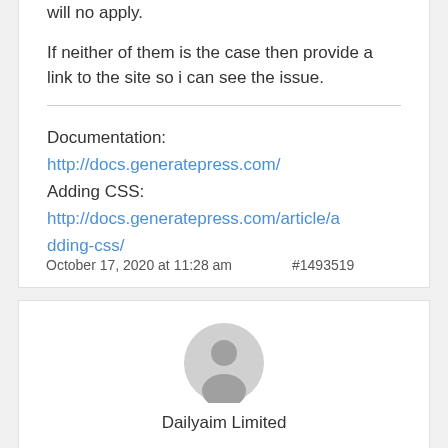will no apply.
If neither of them is the case then provide a link to the site so i can see the issue.
Documentation:
http://docs.generatepress.com/
Adding CSS:
http://docs.generatepress.com/article/adding-css/
October 17, 2020 at 11:28 am   #1493519
[Figure (illustration): User avatar placeholder icon - grey circle with person silhouette]
Dailyaim Limited